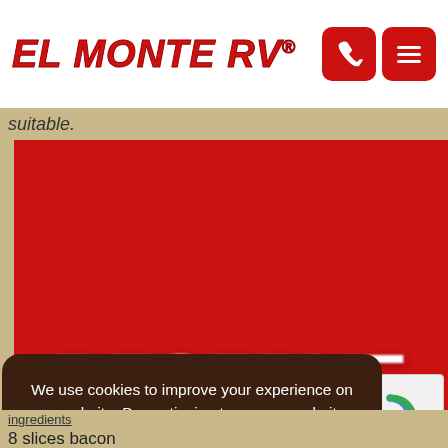[Figure (logo): El Monte RV logo in red bold text with registered trademark symbol]
[Figure (screenshot): Reserve Now banner image on red background with large white blurred text]
suitable.
We use cookies to improve your experience on our website. By continuing to use our website, you are agreeing to our use of cookies. You can learn more in our Privacy Policy
X
[Figure (other): reCAPTCHA widget showing spinning arrow logo and Privacy - Terms text]
8 slices bacon